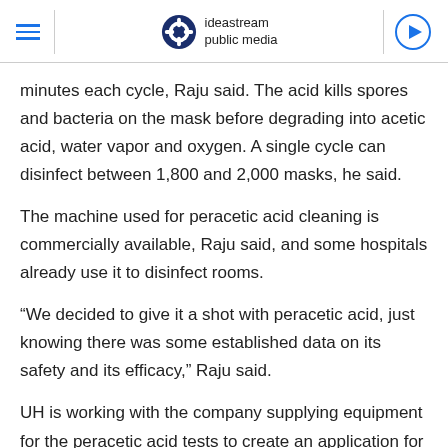ideastream public media
minutes each cycle, Raju said. The acid kills spores and bacteria on the mask before degrading into acetic acid, water vapor and oxygen. A single cycle can disinfect between 1,800 and 2,000 masks, he said.
The machine used for peracetic acid cleaning is commercially available, Raju said, and some hospitals already use it to disinfect rooms.
“We decided to give it a shot with peracetic acid, just knowing there was some established data on its safety and its efficacy,” Raju said.
UH is working with the company supplying equipment for the peracetic acid tests to create an application for